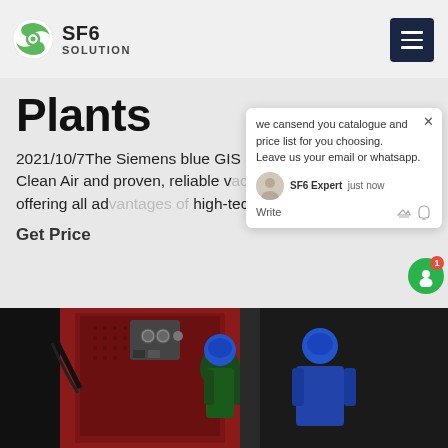SF6 SOLUTION
Plants
2021/10/7The Siemens blue GIS portfolio operates with Clean Air and proven, reliable vacuum switching technology, offering all advantages of high-tech gas-insulated
Get Price
[Figure (screenshot): Chat popup overlay: 'we cansend you catalogue and price list for you choosing. Leave us your email or whatsapp.' with SF6 Expert avatar, 'just now' timestamp, Write input area with thumbs up and paperclip icons]
[Figure (photo): Industrial workers in blue hard hats working on SF6 gas equipment / GIS switchgear panels in a plant facility]